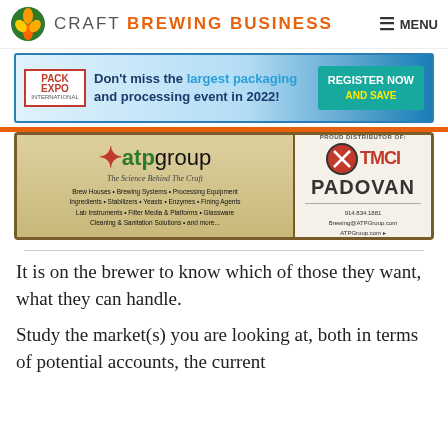CRAFT BREWING BUSINESS — MENU
[Figure (infographic): Pack Expo International ad banner: Don't miss the largest packaging and processing event in 2022! Register Now and Save.]
[Figure (infographic): ATP Group advertisement: The Science Behind The Craft. Brew Houses, Brewing Systems, Processing Equipment, Ingredients, Stabilizers, Yeasts, Enzymes, Fining Agents, Lab Instruments, Filter Media & Platforms, Glassware, Cleaning & Sanitation Solutions and more. Proud Distributor of TMCI Padovan. 914.834.1881 Brewing@ATPGroup.com ATPGroup.com]
It is on the brewer to know which of those they want, what they can handle.
Study the market(s) you are looking at, both in terms of potential accounts, the current